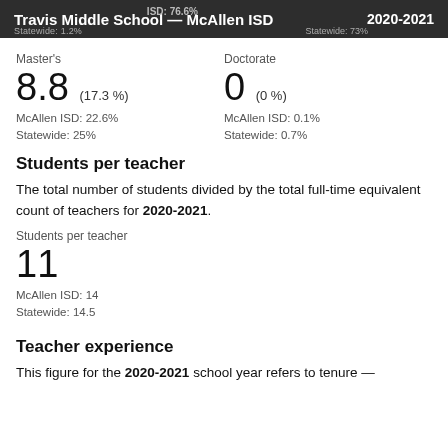Travis Middle School — McAllen ISD  2020-2021
Master's
8.8 (17.3 %)
McAllen ISD: 22.6%
Statewide: 25%
Doctorate
0 (0 %)
McAllen ISD: 0.1%
Statewide: 0.7%
Students per teacher
The total number of students divided by the total full-time equivalent count of teachers for 2020-2021.
Students per teacher
11
McAllen ISD: 14
Statewide: 14.5
Teacher experience
This figure for the 2020-2021 school year refers to tenure —